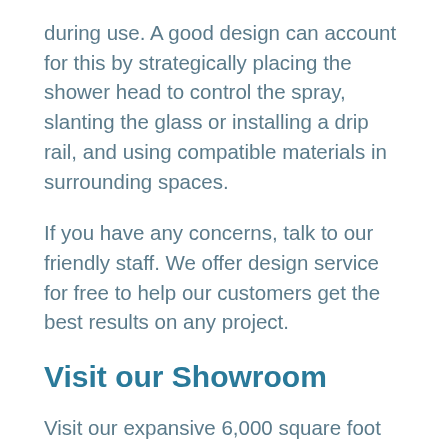during use. A good design can account for this by strategically placing the shower head to control the spray, slanting the glass or installing a drip rail, and using compatible materials in surrounding spaces.
If you have any concerns, talk to our friendly staff. We offer design service for free to help our customers get the best results on any project.
Visit our Showroom
Visit our expansive 6,000 square foot showroom to see the products on display and consult directly with our knowledgeable and